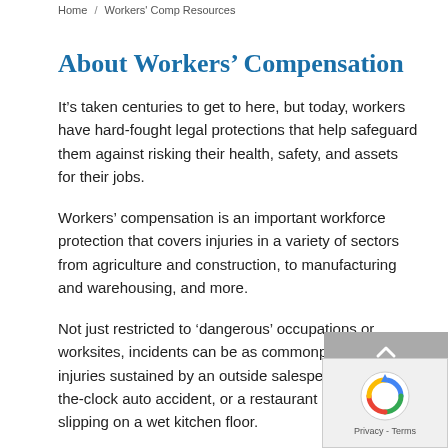Home / Workers' Comp Resources
About Workers' Compensation
It’s taken centuries to get to here, but today, workers have hard-fought legal protections that help safeguard them against risking their health, safety, and assets for their jobs.
Workers’ compensation is an important workforce protection that covers injuries in a variety of sectors from agriculture and construction, to manufacturing and warehousing, and more.
Not just restricted to ‘dangerous’ occupations or worksites, incidents can be as commonplace as injuries sustained by an outside salesperson in an on-the-clock auto accident, or a restaurant server slipping on a wet kitchen floor.
Workers’ comp protections and claims are valuable never simple or straight-forward.